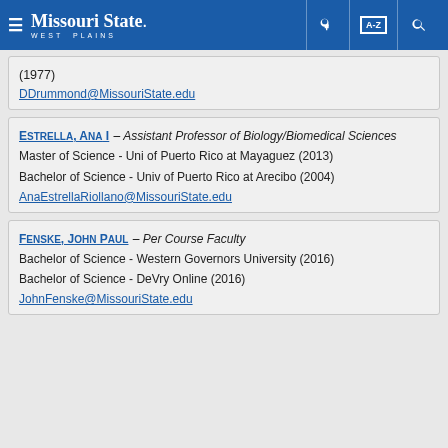Missouri State West Plains
(1977)
DDrummond@MissouriState.edu
Estrella, Ana I – Assistant Professor of Biology/Biomedical Sciences
Master of Science - Uni of Puerto Rico at Mayaguez (2013)
Bachelor of Science - Univ of Puerto Rico at Arecibo (2004)
AnaEstrellaRiollano@MissouriState.edu
Fenske, John Paul – Per Course Faculty
Bachelor of Science - Western Governors University (2016)
Bachelor of Science - DeVry Online (2016)
JohnFenske@MissouriState.edu